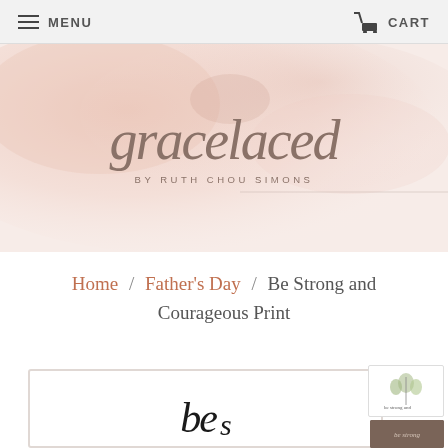MENU   CART
[Figure (logo): GraceLaced by Ruth Chou Simons script logo on pink watercolor background]
Home / Father's Day / Be Strong and Courageous Print
[Figure (photo): Product images: main framed print showing 'be' in script lettering, and two smaller thumbnail images on the right]